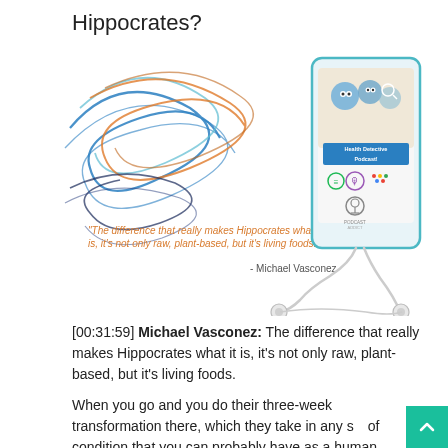Hippocrates?
[Figure (illustration): Decorative swirling lines in blue, teal, and orange on the left side of the image, with a smartphone showing the Health Detective Podcast app/image on the right. The phone has earbuds. A pull quote in orange italic text reads: 'The difference that really makes Hippocrates what it is, it's not only raw, plant-based, but it's living foods.' Attributed to: - Michael Vasconez]
[00:31:59] Michael Vasconez: The difference that really makes Hippocrates what it is, it's not only raw, plant-based, but it's living foods.
When you go and you do their three-week transformation there, which they take in any sort of condition that you can probably have as a human